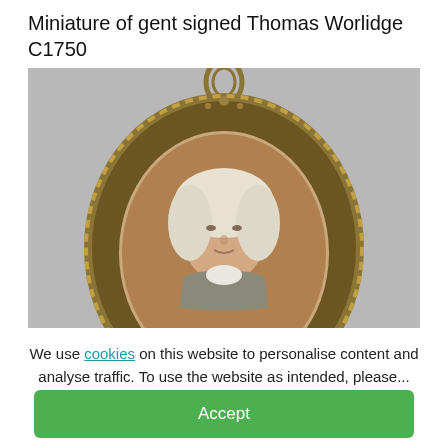Miniature of gent signed Thomas Worlidge C1750
[Figure (photo): A photograph of an antique miniature portrait medallion with ornate gold filigree oval frame with a hanging loop at top. Inside the frame is a painted portrait of a gentleman with white/grey powdered hair, wearing 18th century clothing. The background of the photo is grey.]
We use cookies on this website to personalise content and analyse traffic. To use the website as intended, please...
Accept